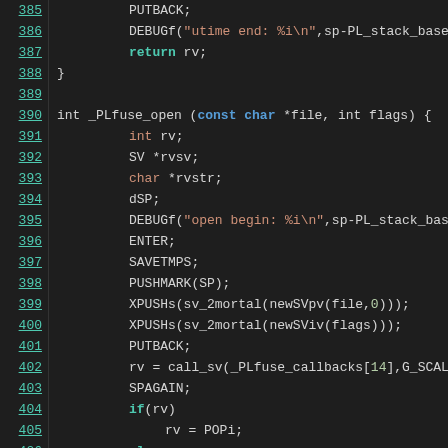[Figure (screenshot): Source code listing in a dark-themed code editor showing C code for _PLfuse_open function, lines 385 to 407. Line numbers are displayed on the left as underlined teal links. Code uses syntax highlighting with green/teal for keywords, red/orange for string literals, and white/gray for identifiers.]